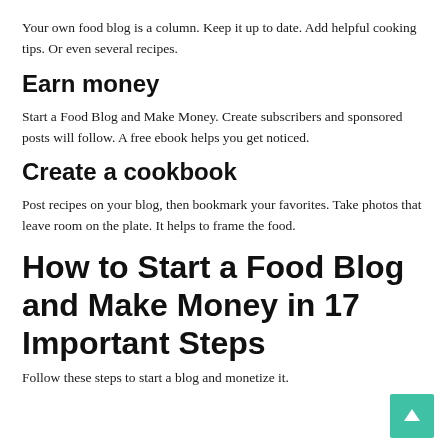Your own food blog is a column. Keep it up to date. Add helpful cooking tips. Or even several recipes.
Earn money
Start a Food Blog and Make Money. Create subscribers and sponsored posts will follow. A free ebook helps you get noticed.
Create a cookbook
Post recipes on your blog, then bookmark your favorites. Take photos that leave room on the plate. It helps to frame the food.
How to Start a Food Blog and Make Money in 17 Important Steps
Follow these steps to start a blog and monetize it.